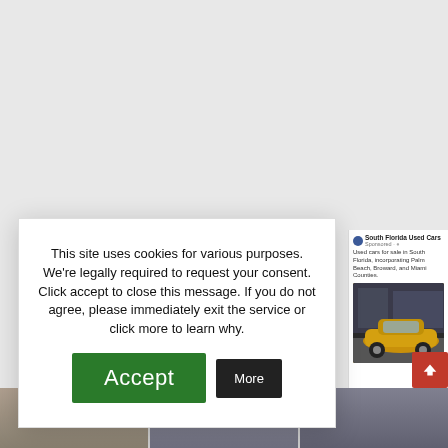[Figure (screenshot): Background webpage screenshot with gray overlay, bottom image strips of cars/outdoor scenes, and a right-side Facebook ad panel for South Florida Used Cars showing a gold SUV. A red scroll-to-top button is visible bottom right.]
This site uses cookies for various purposes. We're legally required to request your consent. Click accept to close this message. If you do not agree, please immediately exit the service or click more to learn why.
[Figure (screenshot): Green Accept button and black More button in cookie consent modal]